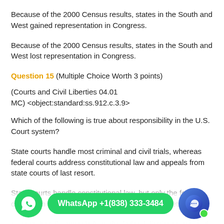Because of the 2000 Census results, states in the South and West gained representation in Congress.
Because of the 2000 Census results, states in the South and West lost representation in Congress.
Question 15 (Multiple Choice Worth 3 points)
(Courts and Civil Liberties 04.01 MC) <object:standard:ss.912.c.3.9>
Which of the following is true about responsibility in the U.S. Court system?
State courts handle most criminal and civil trials, whereas federal courts address constitutional law and appeals from state courts of last resort.
State courts handle constitutional law, but only the federal courts can make new laws based on their interpretations.
e courts handle appeals from the federal district courts, and eral district courts handle appeals from state courts as a che on the power of the courts.